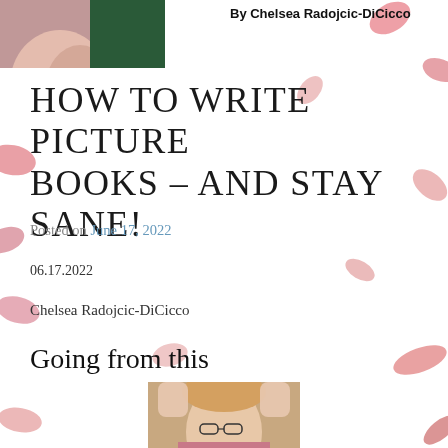[Figure (photo): Top portion of a photo showing a person, partially visible, with a green background]
By Chelsea Radojcic-DiCicco
HOW TO WRITE PICTURE BOOKS – AND STAY SANE!
Posted on June 17, 2022
06.17.2022
Chelsea Radojcic-DiCicco
Going from this
[Figure (photo): Photo of a woman with glasses and hands on head looking stressed]